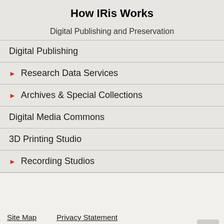How IRis Works
Digital Publishing and Preservation
Digital Publishing
Research Data Services
Archives & Special Collections
Digital Media Commons
3D Printing Studio
Recording Studios
Site Map   Privacy Statement   Library Staff Directory   Contact Us   Directions